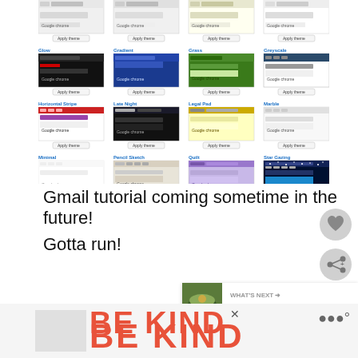[Figure (screenshot): Grid of Google Chrome theme previews arranged in 4 rows x 4 columns, each with a theme name label, a browser screenshot preview, and an 'Apply theme' button. Themes visible include: row 1 (unlabeled, 4 themes), row 2: Glow, Gradient, Grass, Greyscale, row 3: Horizontal Stripe, Late Night, Legal Pad, Marble, row 4: Minimal, Pencil Sketch, Quilt, Star Gazing.]
Gmail tutorial coming sometime in the future!
Gotta run!
[Figure (screenshot): What's Next panel showing a thumbnail of a bowl with food and the text 'WHAT'S NEXT → Smoothin'']
[Figure (screenshot): Advertisement area at the bottom showing 'BE KIND' text in red/coral color with decorative script overlay, an X close button, and a logo on the right side.]